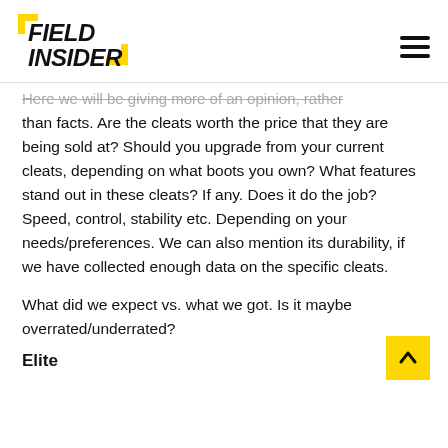FIELD INSIDER
Here we will be giving more of an opinion, rather than facts. Are the cleats worth the price that they are being sold at? Should you upgrade from your current cleats, depending on what boots you own? What features stand out in these cleats? If any. Does it do the job? Speed, control, stability etc. Depending on your needs/preferences. We can also mention its durability, if we have collected enough data on the specific cleats.
What did we expect vs. what we got. Is it maybe overrated/underrated?
Elite